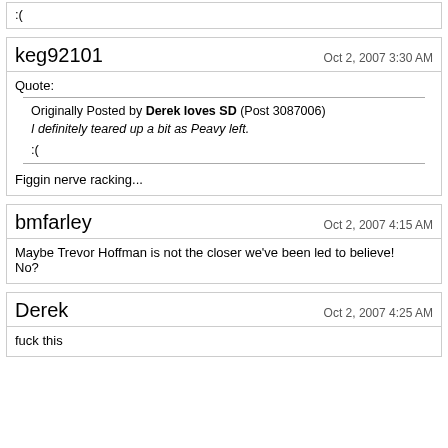:(
keg92101
Oct 2, 2007 3:30 AM
Quote:
Originally Posted by Derek loves SD (Post 3087006)
I definitely teared up a bit as Peavy left.
:(
Figgin nerve racking...
bmfarley
Oct 2, 2007 4:15 AM
Maybe Trevor Hoffman is not the closer we've been led to believe! No?
Derek
Oct 2, 2007 4:25 AM
fuck this